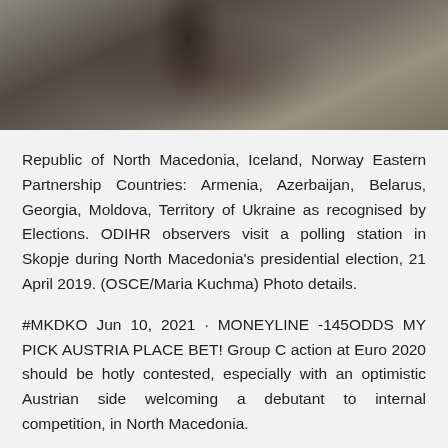[Figure (photo): Partial photo of a person visible through a rain-speckled or dusty glass surface, dark and muted tones, appears to be an outdoor or window scene.]
Republic of North Macedonia, Iceland, Norway Eastern Partnership Countries: Armenia, Azerbaijan, Belarus, Georgia, Moldova, Territory of Ukraine as recognised by Elections. ODIHR observers visit a polling station in Skopje during North Macedonia's presidential election, 21 April 2019. (OSCE/Maria Kuchma) Photo details.
#MKDKO Jun 10, 2021 · MONEYLINE -145ODDS MY PICK AUSTRIA PLACE BET! Group C action at Euro 2020 should be hotly contested, especially with an optimistic Austrian side welcoming a debutant to internal competition, in North Macedonia.